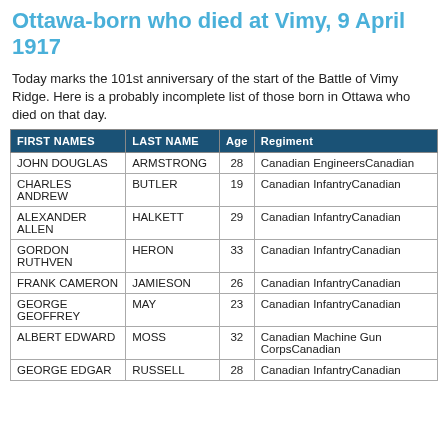Ottawa-born who died at Vimy, 9 April 1917
Today marks the 101st anniversary of the start of the Battle of Vimy Ridge. Here is a probably incomplete list of those born in Ottawa who died on that day.
| FIRST NAMES | LAST NAME | Age | Regiment |
| --- | --- | --- | --- |
| JOHN DOUGLAS | ARMSTRONG | 28 | Canadian EngineersCanadian |
| CHARLES ANDREW | BUTLER | 19 | Canadian InfantryCanadian |
| ALEXANDER ALLEN | HALKETT | 29 | Canadian InfantryCanadian |
| GORDON RUTHVEN | HERON | 33 | Canadian InfantryCanadian |
| FRANK CAMERON | JAMIESON | 26 | Canadian InfantryCanadian |
| GEORGE GEOFFREY | MAY | 23 | Canadian InfantryCanadian |
| ALBERT EDWARD | MOSS | 32 | Canadian Machine Gun CorpsCanadian |
| GEORGE EDGAR | RUSSELL | 28 | Canadian InfantryCanadian |